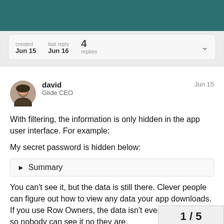created Jun 15   last reply Jun 16   4 replies
[Figure (photo): Avatar photo of david, Glide CEO]
david
Glide CEO
Jun 15
With filtering, the information is only hidden in the app user interface. For example:
My secret password is hidden below:
▶ Summary
You can't see it, but the data is still there. Clever people can figure out how to view any data your app downloads. If you use Row Owners, the data isn't even downloaded, so nobody can see it no they are.
1 / 5